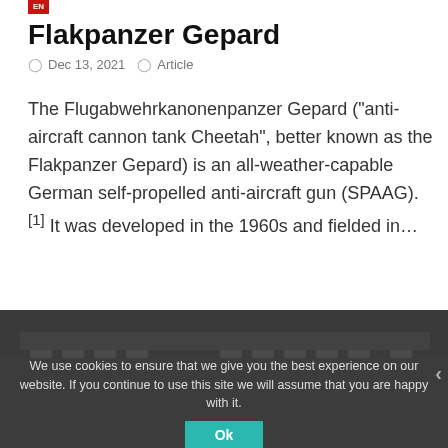Flakpanzer Gepard
Dec 13, 2021  Article
The Flugabwehrkanonenpanzer Gepard (“anti-aircraft cannon tank Cheetah”, better known as the Flakpanzer Gepard) is an all-weather-capable German self-propelled anti-aircraft gun (SPAAG).[1] It was developed in the 1960s and fielded in...
[Figure (photo): Dark background section with pillar/architectural shapes visible behind cookie consent overlay]
We use cookies to ensure that we give you the best experience on our website. If you continue to use this site we will assume that you are happy with it.